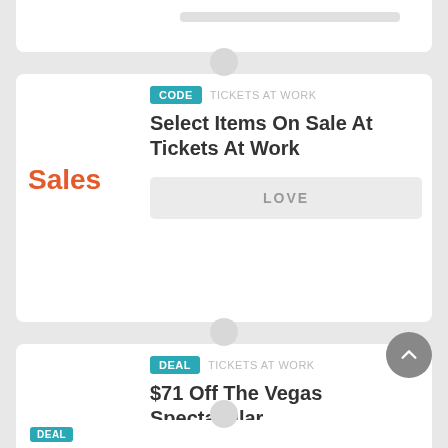[Figure (screenshot): Partial top card with gray bar]
Sales
CODE  TICKETS AT WORK
Select Items On Sale At Tickets At Work
LOVE
$71
DEAL  TICKETS AT WORK
$71 Off The Vegas Spectacular
Get Deal